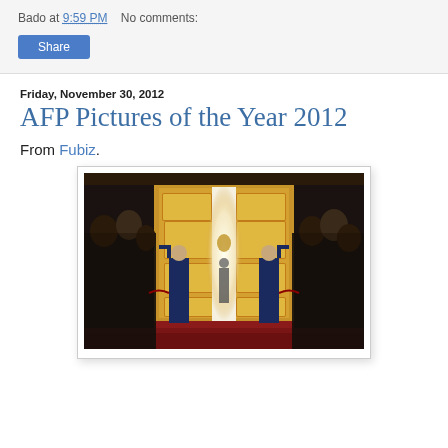Bado at 9:59 PM   No comments:
Share
Friday, November 30, 2012
AFP Pictures of the Year 2012
From Fubiz.
[Figure (photo): Photo of two guards in blue uniforms opening large golden ornate doors at what appears to be the Kremlin, with a figure standing in the bright doorway on a red carpet, onlookers in formal attire on both sides.]